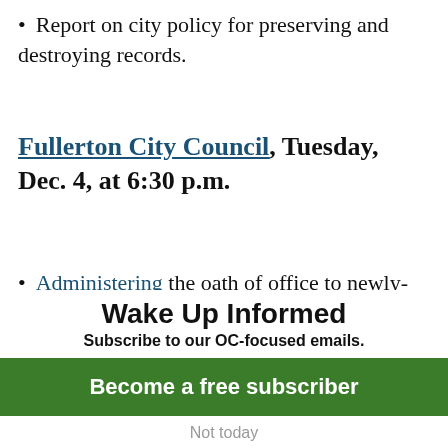Report on city policy for preserving and destroying records.
Fullerton City Council, Tuesday, Dec. 4, at 6:30 p.m.
Administering the oath of office to newly-elected Council Members Bruce Whitaker, Jennifer Fitzgerald and Jan Flory.
Selection of new mayor.
Wake Up Informed
Subscribe to our OC-focused emails.
Become a free subscriber
Not today